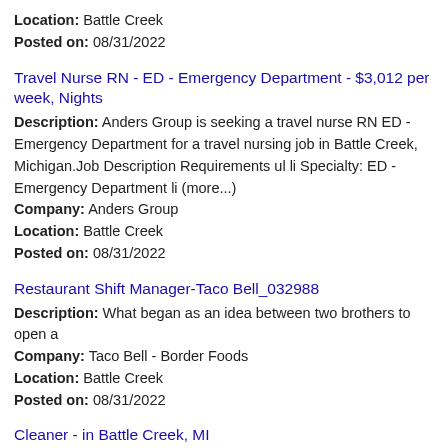Location: Battle Creek
Posted on: 08/31/2022
Travel Nurse RN - ED - Emergency Department - $3,012 per week, Nights
Description: Anders Group is seeking a travel nurse RN ED - Emergency Department for a travel nursing job in Battle Creek, Michigan.Job Description Requirements ul li Specialty: ED - Emergency Department li (more...)
Company: Anders Group
Location: Battle Creek
Posted on: 08/31/2022
Restaurant Shift Manager-Taco Bell_032988
Description: What began as an idea between two brothers to open a
Company: Taco Bell - Border Foods
Location: Battle Creek
Posted on: 08/31/2022
Cleaner - in Battle Creek, MI
Description: If you enjoy keeping things clean and orderly, and take pride in the work you do then we have an opportunity for YOU Edward Rose Sons is a family owned company providing modest to brand new luxury (more...)